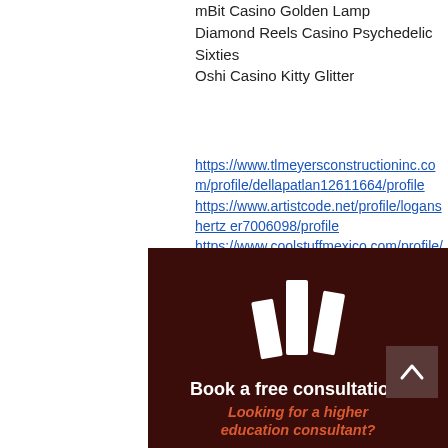mBit Casino Golden Lamp
Diamond Reels Casino Psychedelic Sixties
Oshi Casino Kitty Glitter
https://www.tlmeyersconstructioninc.com/profile/dellapatlan12611664/profile https://www.artistcode.net/profile/loganshertz er7006098/profile https://www.coolstuffmexico.com/profile/genevivearaki15133997/profile https://www.robynsboudoirphotography.com/profile/maganhawkins14928058/profile
[Figure (logo): Dark brown banner ad with a white geometric logo (stylized building/bar chart shapes), a scroll-to-top button, bold white text 'Book a free consultation!' and italic orange text 'Looking for a higher education consultant?']